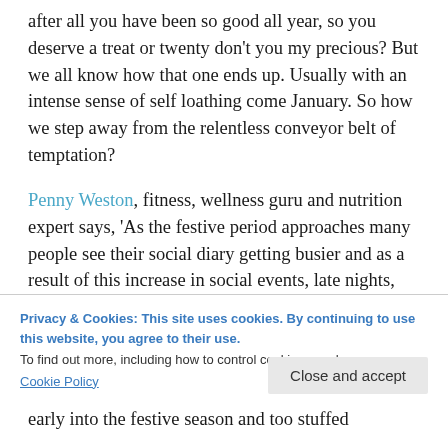after all you have been so good all year, so you deserve a treat or twenty don't you my precious? But we all know how that one ends up. Usually with an intense sense of self loathing come January. So how we step away from the relentless conveyor belt of temptation?
Penny Weston, fitness, wellness guru and nutrition expert says, 'As the festive period approaches many people see their social diary getting busier and as a result of this increase in social events, late nights, reduced sleep and
Privacy & Cookies: This site uses cookies. By continuing to use this website, you agree to their use.
To find out more, including how to control cookies, see here:
Cookie Policy
early into the festive season and too stuffed